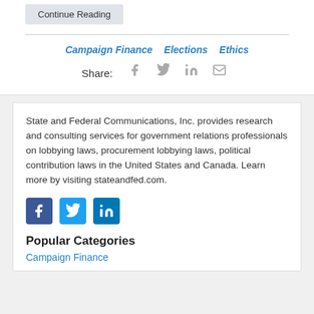Continue Reading
Campaign Finance   Elections   Ethics
Share:
State and Federal Communications, Inc. provides research and consulting services for government relations professionals on lobbying laws, procurement lobbying laws, political contribution laws in the United States and Canada. Learn more by visiting stateandfed.com.
[Figure (logo): Facebook, Twitter, and LinkedIn social media icons]
Popular Categories
Campaign Finance